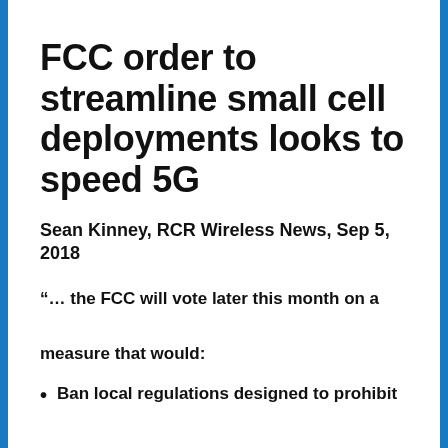FCC order to streamline small cell deployments looks to speed 5G
Sean Kinney, RCR Wireless News, Sep 5, 2018
“… the FCC will vote later this month on a measure that would:
Ban local regulations designed to prohibit